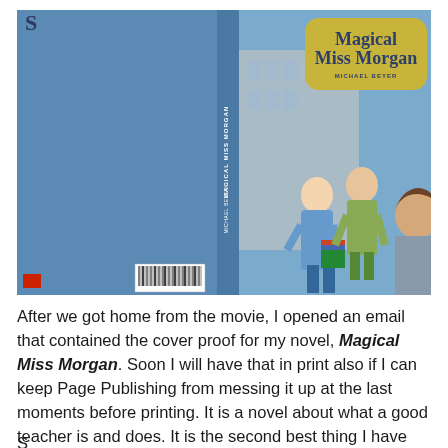[Figure (photo): Book cover spread showing back cover with text on blue background, spine with title text, and front cover of 'Magical Miss Morgan' by Michael Beyer featuring illustrated students carrying books in front of a school building, with a yellow badge-shaped title element]
After we got home from the movie, I opened an email that contained the cover proof for my novel, Magical Miss Morgan.  Soon I will have that in print also if I can keep Page Publishing from messing it up at the last moments before printing.  It is a novel about what a good teacher is and does.  It is the second best thing I have ever written.
Something other gifts that...